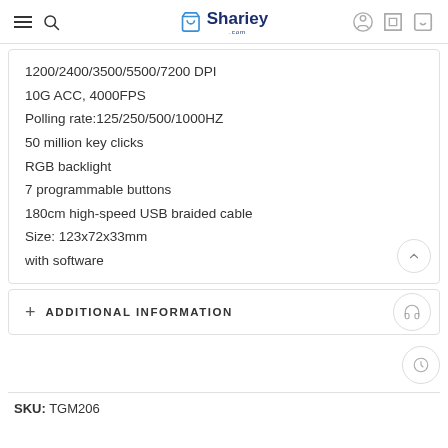Shariey
1200/2400/3500/5500/7200 DPI
10G ACC, 4000FPS
Polling rate:125/250/500/1000HZ
50 million key clicks
RGB backlight
7 programmable buttons
180cm high-speed USB braided cable
Size: 123x72x33mm
with software
+ ADDITIONAL INFORMATION
SKU: TGM206